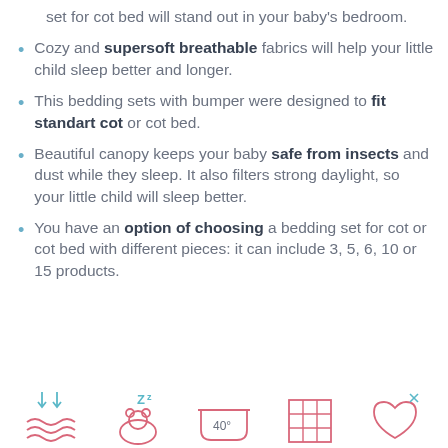set for cot bed will stand out in your baby's bedroom.
Cozy and supersoft breathable fabrics will help your little child sleep better and longer.
This bedding sets with bumper were designed to fit standart cot or cot bed.
Beautiful canopy keeps your baby safe from insects and dust while they sleep. It also filters strong daylight, so your little child will sleep better.
You have an option of choosing a bedding set for cot or cot bed with different pieces: it can include 3, 5, 6, 10 or 15 products.
[Figure (illustration): Row of five laundry/care instruction icons at the bottom: gentle wash waves icon, sleeping bear icon, wash basin with 40° label, grid/fabric icon, and delicate wash icon. Icons are in pink/red and teal/blue outline style.]